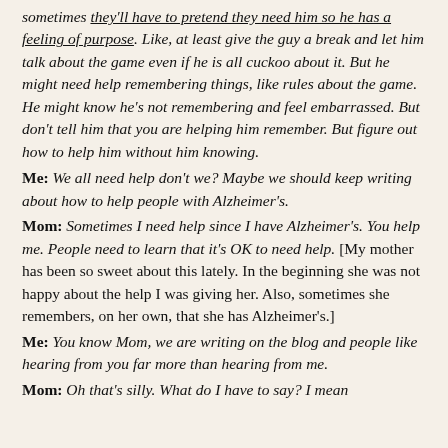sometimes they'll have to pretend they need him so he has a feeling of purpose. Like, at least give the guy a break and let him talk about the game even if he is all cuckoo about it. But he might need help remembering things, like rules about the game. He might know he's not remembering and feel embarrassed. But don't tell him that you are helping him remember. But figure out how to help him without him knowing.
Me: We all need help don't we? Maybe we should keep writing about how to help people with Alzheimer's.
Mom: Sometimes I need help since I have Alzheimer's. You help me. People need to learn that it's OK to need help. [My mother has been so sweet about this lately. In the beginning she was not happy about the help I was giving her. Also, sometimes she remembers, on her own, that she has Alzheimer's.]
Me: You know Mom, we are writing on the blog and people like hearing from you far more than hearing from me.
Mom: Oh that's silly. What do I have to say? I mean